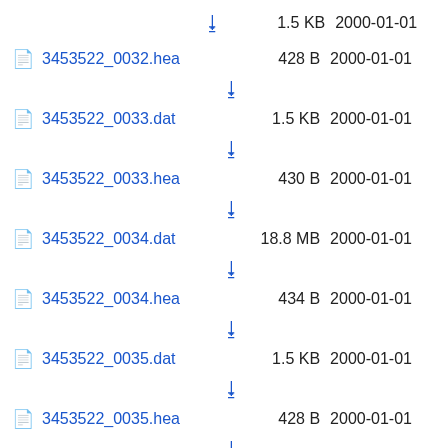1.5 KB  2000-01-01 (download icon at top)
3453522_0032.hea  428 B  2000-01-01
3453522_0033.dat  1.5 KB  2000-01-01
3453522_0033.hea  430 B  2000-01-01
3453522_0034.dat  18.8 MB  2000-01-01
3453522_0034.hea  434 B  2000-01-01
3453522_0035.dat  1.5 KB  2000-01-01
3453522_0035.hea  428 B  2000-01-01